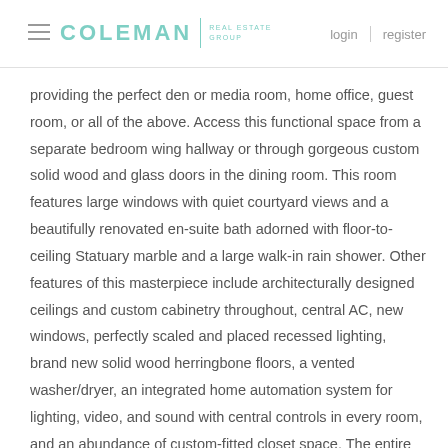COLEMAN REAL ESTATE GROUP  login  register
providing the perfect den or media room, home office, guest room, or all of the above. Access this functional space from a separate bedroom wing hallway or through gorgeous custom solid wood and glass doors in the dining room. This room features large windows with quiet courtyard views and a beautifully renovated en-suite bath adorned with floor-to-ceiling Statuary marble and a large walk-in rain shower. Other features of this masterpiece include architecturally designed ceilings and custom cabinetry throughout, central AC, new windows, perfectly scaled and placed recessed lighting, brand new solid wood herringbone floors, a vented washer/dryer, an integrated home automation system for lighting, video, and sound with central controls in every room, and an abundance of custom-fitted closet space. The entire apartment has been